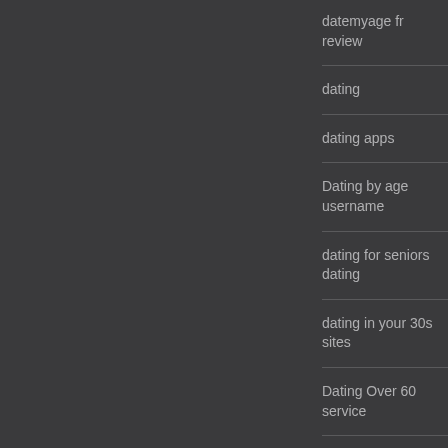datemyage fr review
dating
dating apps
Dating by age username
dating for seniors dating
dating in your 30s sites
Dating Over 60 service
dating site